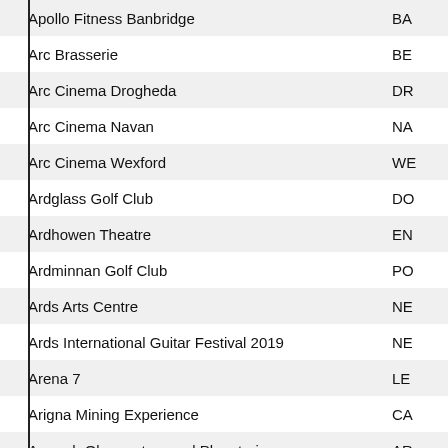| Name | Code |
| --- | --- |
| Apollo Fitness Banbridge | BA |
| Arc Brasserie | BE |
| Arc Cinema Drogheda | DR |
| Arc Cinema Navan | NA |
| Arc Cinema Wexford | WE |
| Ardglass Golf Club | DO |
| Ardhowen Theatre | EN |
| Ardminnan Golf Club | PO |
| Ards Arts Centre | NE |
| Ards International Guitar Festival 2019 | NE |
| Arena 7 | LE |
| Arigna Mining Experience | CA |
| Armagh Observatory and Planetarium | AR |
| Armoy Road Races | BA |
| Armstrong Learning NI Limited | BE |
| Arnolds Hotel & Riding Stables | DU |
| Arranmore Ferry | LE |
| ArtsEkta Ltd | BE |
| Ashton Community Trust | BE |